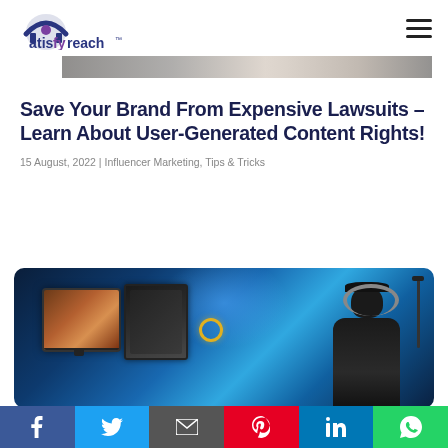atisifyreach
[Figure (photo): Partial top image showing a person, cropped header photo]
Save Your Brand From Expensive Lawsuits – Learn About User-Generated Content Rights!
15 August, 2022 | Influencer Marketing, Tips & Tricks
[Figure (photo): Photo of a person wearing headphones sitting in front of monitors/screens with blue lighting in the background]
Social share bar: Facebook, Twitter, Email, Pinterest, LinkedIn, WhatsApp